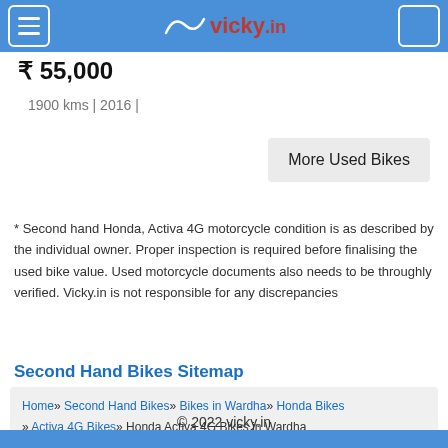vicky.in
₹ 55,000
1900 kms | 2016 |
More Used Bikes
* Second hand Honda, Activa 4G motorcycle condition is as described by the individual owner. Proper inspection is required before finalising the used bike value. Used motorcycle documents also needs to be throughly verified. Vicky.in is not responsible for any discrepancies
Second Hand Bikes Sitemap
Home » Second Hand Bikes » Bikes in Wardha » Honda Bikes » Activa 4G Bikes » Honda Activa 4G Bikes in Wardha
© 2022 vicky.in